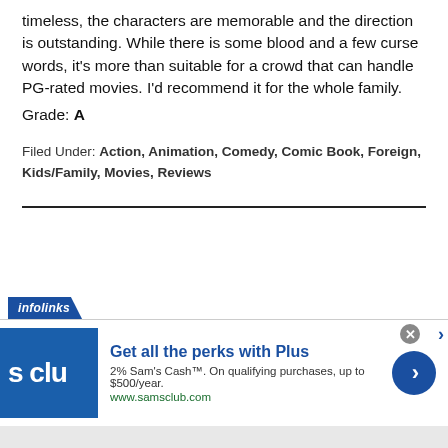timeless, the characters are memorable and the direction is outstanding. While there is some blood and a few curse words, it's more than suitable for a crowd that can handle PG-rated movies. I'd recommend it for the whole family.
Grade: A
Filed Under: Action, Animation, Comedy, Comic Book, Foreign, Kids/Family, Movies, Reviews
[Figure (screenshot): Infolinks advertisement banner for Sam's Club featuring 'Get all the perks with Plus' headline, 2% Sam's Cash offer, and www.samsclub.com URL with a blue circular arrow button.]